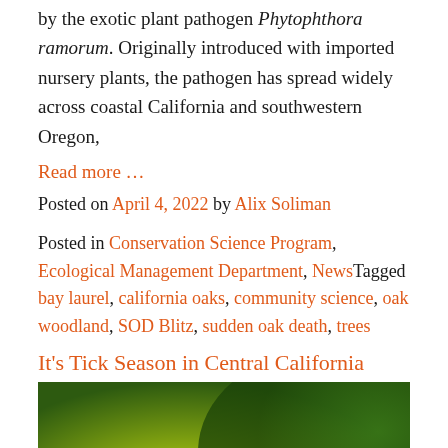by the exotic plant pathogen Phytophthora ramorum. Originally introduced with imported nursery plants, the pathogen has spread widely across coastal California and southwestern Oregon,
Read more …
Posted on April 4, 2022 by Alix Soliman
Posted in Conservation Science Program, Ecological Management Department, NewsTagged bay laurel, california oaks, community science, oak woodland, SOD Blitz, sudden oak death, trees
It's Tick Season in Central California
[Figure (photo): Close-up macro photograph of a tick (orange and dark colored) on a green and yellow blurred background]